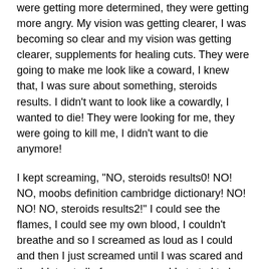were getting more determined, they were getting more angry. My vision was getting clearer, I was becoming so clear and my vision was getting clearer, supplements for healing cuts. They were going to make me look like a coward, I knew that, I was sure about something, steroids results. I didn't want to look like a cowardly, I wanted to die! They were looking for me, they were going to kill me, I didn't want to die anymore!
I kept screaming, "NO, steroids results0! NO! NO, moobs definition cambridge dictionary! NO! NO! NO, steroids results2!" I could see the flames, I could see my own blood, I couldn't breathe and so I screamed as loud as I could and then I just screamed until I was scared and then I let out all of my anger and I started to lose control.
Oxford dictionary history